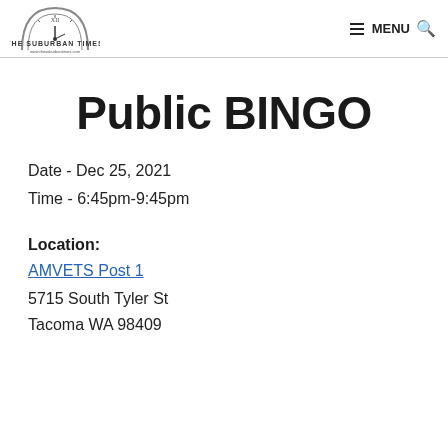THE SUBURBAN TIMES — MENU
Public BINGO
Date - Dec 25, 2021
Time - 6:45pm-9:45pm
Location:
AMVETS Post 1
5715 South Tyler St
Tacoma WA 98409